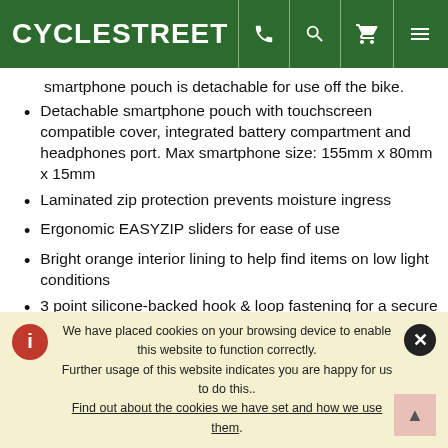CYCLESTREET
smartphone pouch is detachable for use off the bike.
Detachable smartphone pouch with touchscreen compatible cover, integrated battery compartment and headphones port. Max smartphone size: 155mm x 80mm x 15mm
Laminated zip protection prevents moisture ingress
Ergonomic EASYZIP sliders for ease of use
Bright orange interior lining to help find items on low light conditions
3 point silicone-backed hook & loop fastening for a secure and paintwork-friendly fit
Reflective detailing
Capacity: 1250ml including phone pouch
We have placed cookies on your browsing device to enable this website to function correctly. Further usage of this website indicates you are happy for us to do this.. Find out about the cookies we have set and how we use them.